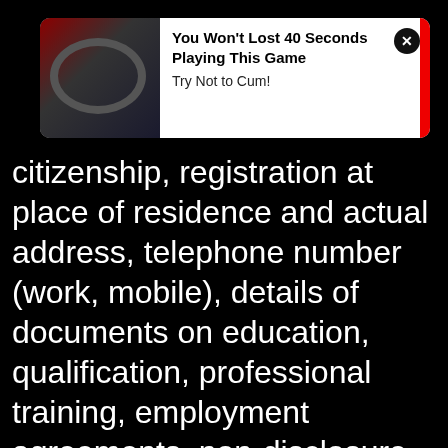[Figure (screenshot): Ad popup overlay showing a car interior/driving game image on the left and text 'You Won't Lost 40 Seconds Playing This Game' with subtitle 'Try Not to Cum!' on white background with close button]
citizenship, registration at place of residence and actual address, telephone number (work, mobile), details of documents on education, qualification, professional training, employment agreements, non-disclosure agreements, information on bonuses and compensation, information on marital status, family members, social security (or other taxpayer identification) number, office